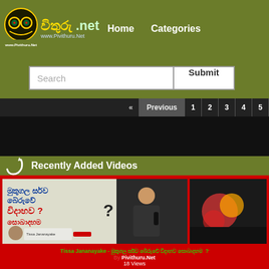විතුරු .net www.Pivithuru.Net — Home   Categories
Search  Submit
« Previous  1  2  3  4  5
Recently Added Videos
[Figure (screenshot): Video thumbnail showing Sinhala text and a man holding a microphone. Text reads: Tissa Jananayake - [Sinhala text]]
Tissa Jananayake - [Sinhala script title]
By Pivithuru.Net
18 Views
[Figure (screenshot): Partial video thumbnail showing red background - second video card partially visible at bottom]